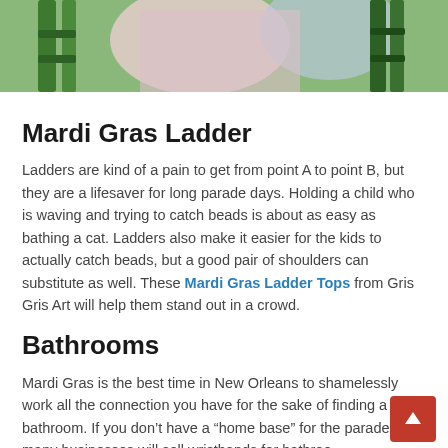[Figure (photo): Partial photo of a Mardi Gras scene, showing colorful parade elements with green ladder structure and people in the background]
Mardi Gras Ladder
Ladders are kind of a pain to get from point A to point B, but they are a lifesaver for long parade days. Holding a child who is waving and trying to catch beads is about as easy as bathing a cat. Ladders also make it easier for the kids to actually catch beads, but a good pair of shoulders can substitute as well. These Mardi Gras Ladder Tops from Gris Gris Art will help them stand out in a crowd.
Bathrooms
Mardi Gras is the best time in New Orleans to shamelessly work all the connection you have for the sake of finding a clean bathroom. If you don't have a “home base” for the parades,  many businesses will sell wristbands for bathrooms.